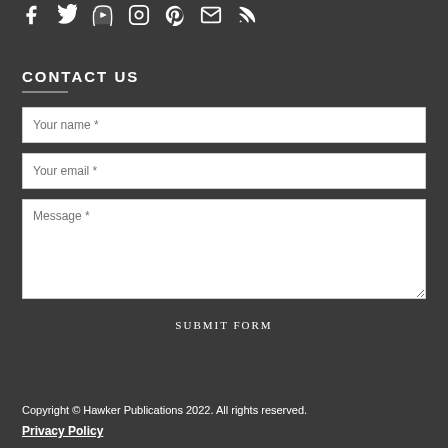[Figure (other): Social media icons row: Facebook, Twitter, YouTube, Instagram, Pinterest, Email, RSS]
CONTACT US
[Figure (other): Contact form with fields: Your name *, Your email *, Message *, and a SUBMIT FORM button]
Copyright © Hawker Publications 2022. All rights reserved.
Privacy Policy